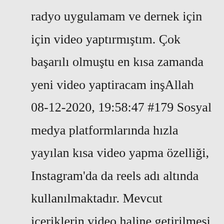radyo uygulamam ve dernek için için video yaptırmıştım. Çok başarılı olmuştu en kısa zamanda yeni video yaptiracam inşAllah 08-12-2020, 19:58:47 #179 Sosyal medya platformlarında hızla yayılan kısa video yapma özelliği, Instagram'da da reels adı altında kullanılmaktadır. Mevcut içeriklerin video haline getirilmesi veya doğaçlama video hazırlama için tercih edilen bu özellik, bazı uygulamalar kullanılarak daha